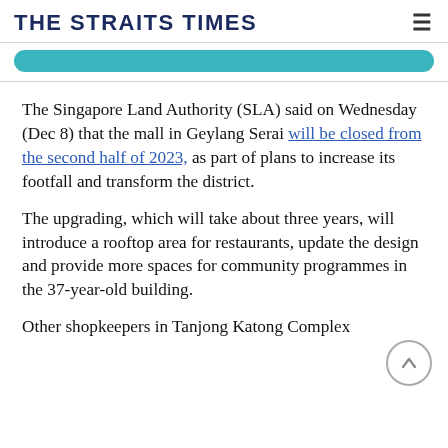THE STRAITS TIMES
[Figure (other): Teal rounded button/banner bar]
The Singapore Land Authority (SLA) said on Wednesday (Dec 8) that the mall in Geylang Serai will be closed from the second half of 2023, as part of plans to increase its footfall and transform the district.
The upgrading, which will take about three years, will introduce a rooftop area for restaurants, update the design and provide more spaces for community programmes in the 37-year-old building.
Other shopkeepers in Tanjong Katong Complex